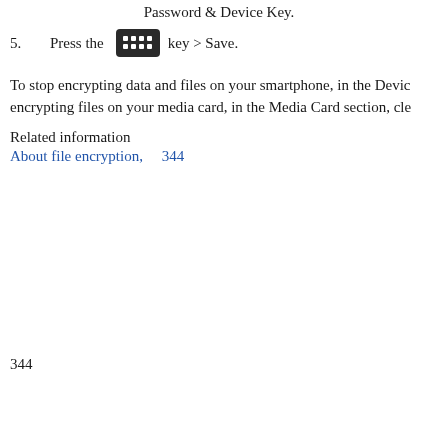Password & Device Key.
5.   Press the [BB key] key > Save.
To stop encrypting data and files on your smartphone, in the Device encrypting files on your media card, in the Media Card section, cle
Related information
About file encryption,      344
344